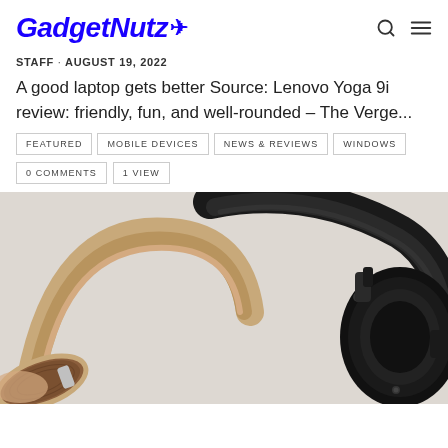GadgetNutz
STAFF · AUGUST 19, 2022
A good laptop gets better Source: Lenovo Yoga 9i review: friendly, fun, and well-rounded – The Verge...
FEATURED
MOBILE DEVICES
NEWS & REVIEWS
WINDOWS
0 COMMENTS
1 VIEW
[Figure (photo): Two over-ear headphones side by side: left one with tan/camel leather and wood ear cups, right one in all-black with large padded ear cups]